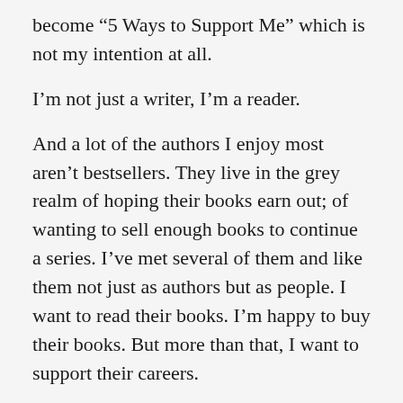become “5 Ways to Support Me” which is not my intention at all.
I’m not just a writer, I’m a reader.
And a lot of the authors I enjoy most aren’t bestsellers. They live in the grey realm of hoping their books earn out; of wanting to sell enough books to continue a series. I’ve met several of them and like them not just as authors but as people. I want to read their books. I’m happy to buy their books. But more than that, I want to support their careers.
I want them to earn out so they can continue a series; so a publisher buys their next book; so they are successful; and, most importantly, so